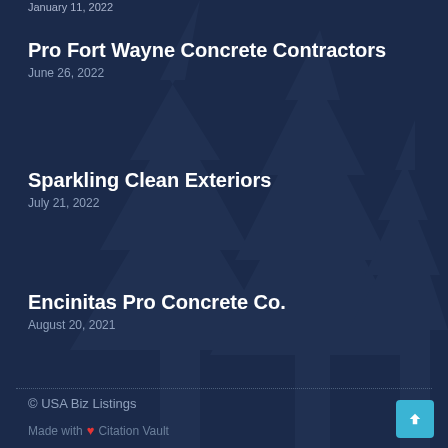January 11, 2022
Pro Fort Wayne Concrete Contractors
June 26, 2022
Sparkling Clean Exteriors
July 21, 2022
Encinitas Pro Concrete Co.
August 20, 2021
© USA Biz Listings
Made with ❤ Citation Vault